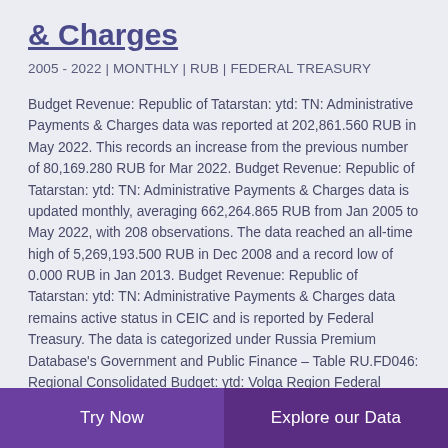& Charges
2005 - 2022 | MONTHLY | RUB | FEDERAL TREASURY
Budget Revenue: Republic of Tatarstan: ytd: TN: Administrative Payments & Charges data was reported at 202,861.560 RUB in May 2022. This records an increase from the previous number of 80,169.280 RUB for Mar 2022. Budget Revenue: Republic of Tatarstan: ytd: TN: Administrative Payments & Charges data is updated monthly, averaging 662,264.865 RUB from Jan 2005 to May 2022, with 208 observations. The data reached an all-time high of 5,269,193.500 RUB in Dec 2008 and a record low of 0.000 RUB in Jan 2013. Budget Revenue: Republic of Tatarstan: ytd: TN: Administrative Payments & Charges data remains active status in CEIC and is reported by Federal Treasury. The data is categorized under Russia Premium Database's Government and Public Finance – Table RU.FD046: Regional Consolidated Budget: ytd: Volga Region Federal
Try Now | Explore our Data